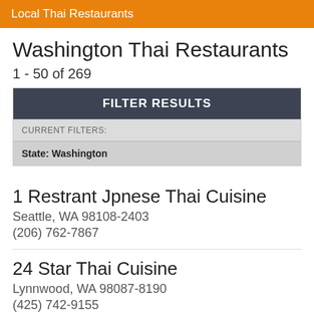Local Thai Restaurants
Washington Thai Restaurants
1 - 50 of 269
FILTER RESULTS
CURRENT FILTERS:
State: Washington
1 Restrant Jpnese Thai Cuisine
Seattle, WA 98108-2403
(206) 762-7867
24 Star Thai Cuisine
Lynnwood, WA 98087-8190
(425) 742-9155